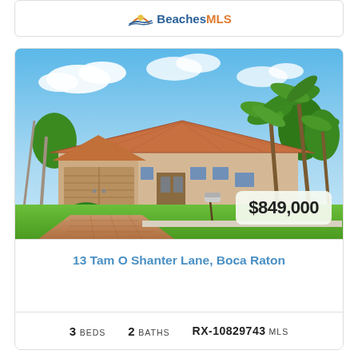[Figure (logo): Beaches MLS logo with wave/sun icon]
[Figure (photo): Single-story Florida home with terracotta tile roof, two-car garage, palm trees, lush tropical landscaping, brick paver driveway, blue sky with clouds]
$849,000
13 Tam O Shanter Lane, Boca Raton
3 BEDS   2 BATHS   RX-10829743 MLS